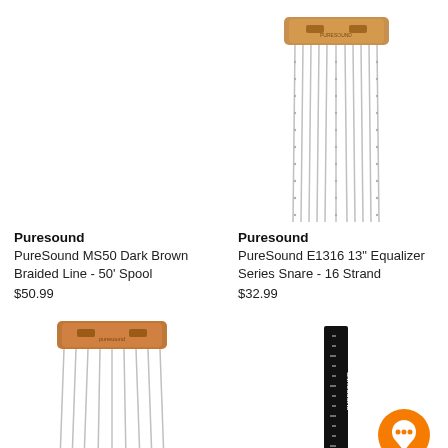[Figure (photo): No product image shown - empty space for PureSound MS50 Dark Brown Braided Line]
Puresound
PureSound MS50 Dark Brown Braided Line - 50' Spool
$50.99
[Figure (photo): PureSound E1316 snare wire with bronze/copper top bar and silver chain strands hanging down]
Puresound
PureSound E1316 13" Equalizer Series Snare - 16 Strand
$32.99
[Figure (photo): Puresound snare wire with copper/bronze top bar and silver chain strands, partial view]
[Figure (photo): Puresound product with black ruler/strip showing PURESOUND branding, with orange chat bubble icon overlay]